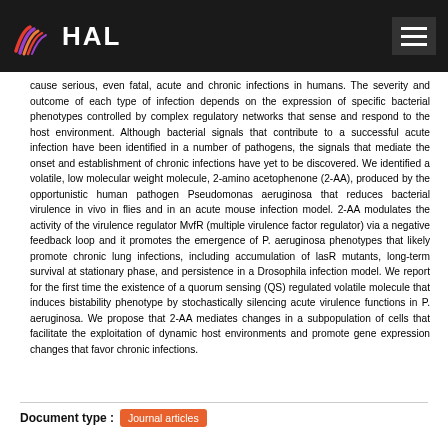HAL
cause serious, even fatal, acute and chronic infections in humans. The severity and outcome of each type of infection depends on the expression of specific bacterial phenotypes controlled by complex regulatory networks that sense and respond to the host environment. Although bacterial signals that contribute to a successful acute infection have been identified in a number of pathogens, the signals that mediate the onset and establishment of chronic infections have yet to be discovered. We identified a volatile, low molecular weight molecule, 2-amino acetophenone (2-AA), produced by the opportunistic human pathogen Pseudomonas aeruginosa that reduces bacterial virulence in vivo in flies and in an acute mouse infection model. 2-AA modulates the activity of the virulence regulator MvfR (multiple virulence factor regulator) via a negative feedback loop and it promotes the emergence of P. aeruginosa phenotypes that likely promote chronic lung infections, including accumulation of lasR mutants, long-term survival at stationary phase, and persistence in a Drosophila infection model. We report for the first time the existence of a quorum sensing (QS) regulated volatile molecule that induces bistability phenotype by stochastically silencing acute virulence functions in P. aeruginosa. We propose that 2-AA mediates changes in a subpopulation of cells that facilitate the exploitation of dynamic host environments and promote gene expression changes that favor chronic infections.
Document type : Journal articles